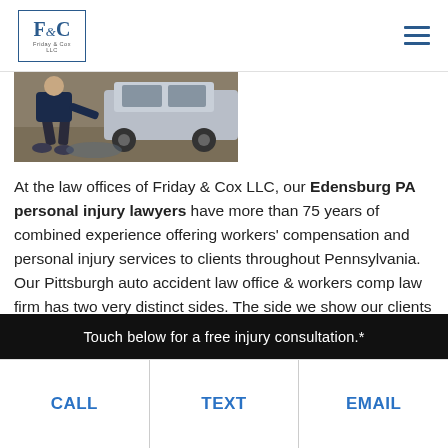F&C Friday & Cox LLC
[Figure (photo): Photo of a person crouching near a car, scene depicting a car accident or vehicle damage on a wet surface]
At the law offices of Friday & Cox LLC, our Edensburg PA personal injury lawyers have more than 75 years of combined experience offering workers' compensation and personal injury services to clients throughout Pennsylvania. Our Pittsburgh auto accident law office & workers comp law firm has two very distinct sides. The side we show our clients and the side we show our adversaries.
Touch below for a free injury consultation.*
CALL   TEXT   EMAIL